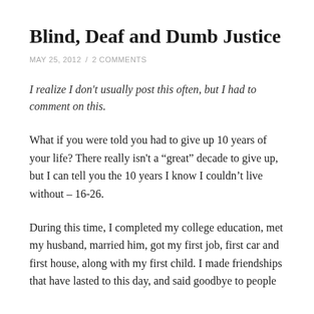Blind, Deaf and Dumb Justice
MAY 25, 2012  /  2 COMMENTS
I realize I don't usually post this often, but I had to comment on this.
What if you were told you had to give up 10 years of your life? There really isn't a “great” decade to give up, but I can tell you the 10 years I know I couldn’t live without – 16-26.
During this time, I completed my college education, met my husband, married him, got my first job, first car and first house, along with my first child. I made friendships that have lasted to this day, and said goodbye to people